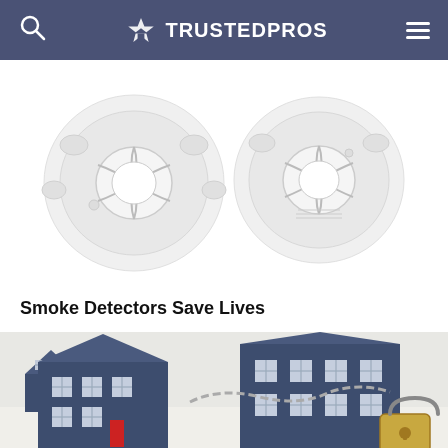TRUSTEDPROS
[Figure (photo): Two white circular smoke detectors viewed from below, showing ventilation grilles and mounting features, on white background]
Smoke Detectors Save Lives
[Figure (photo): Miniature model houses in dark blue/navy color with white windows, secured with a padlock and chain, representing home security]